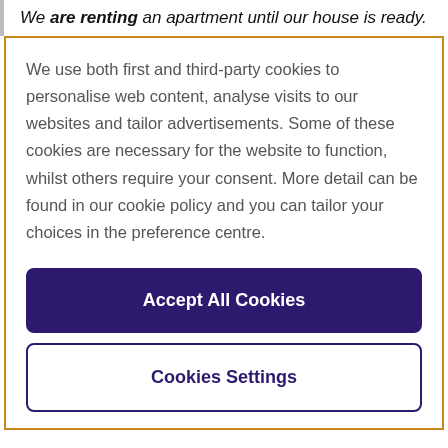We are renting an apartment until our house is ready.
We use both first and third-party cookies to personalise web content, analyse visits to our websites and tailor advertisements. Some of these cookies are necessary for the website to function, whilst others require your consent. More detail can be found in our cookie policy and you can tailor your choices in the preference centre.
Accept All Cookies
Cookies Settings